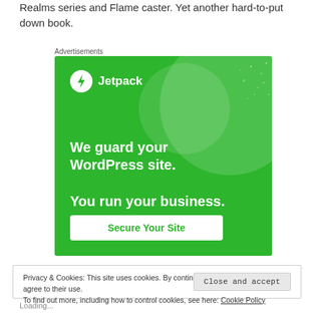Realms series and Flame caster. Yet another hard-to-put down book.
Advertisements
[Figure (illustration): Jetpack advertisement banner on green background. Shows Jetpack logo (lightning bolt icon in circle) with text 'We guard your WordPress site. You run your business.' and a 'Secure Your Site' button.]
Privacy & Cookies: This site uses cookies. By continuing to use this website, you agree to their use.
To find out more, including how to control cookies, see here: Cookie Policy
Close and accept
Loading...